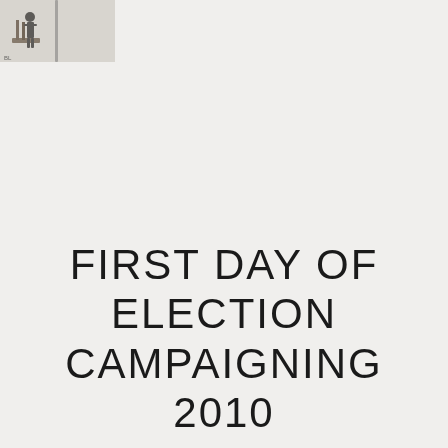[Figure (photo): A partial photograph in the top-left corner showing a person standing on what appears to be a platform or structure, with a pole visible. The image is partially cropped and shows a light grey sky background.]
FIRST DAY OF ELECTION CAMPAIGNING 2010